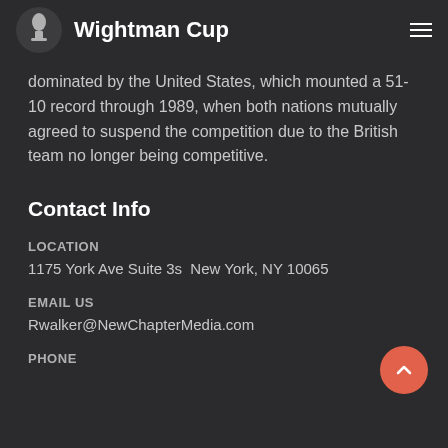Wightman Cup
dominated by the United States, which mounted a 51-10 record through 1989, when both nations mutually agreed to suspend the competition due to the British team no longer being competitive.
Contact Info
LOCATION
1175 York Ave Suite 3s  New York, NY 10065
EMAIL US
Rwalker@NewChapterMedia.com
PHONE